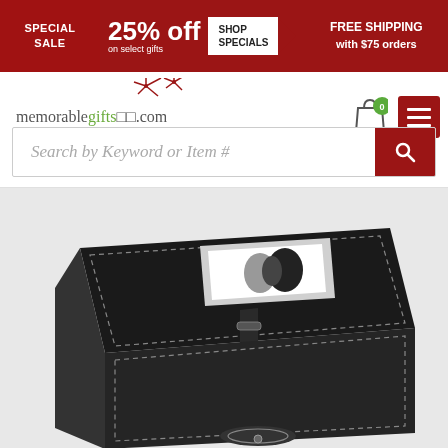SPECIAL SALE | 25% off on select gifts | SHOP SPECIALS | FREE SHIPPING with $75 orders
[Figure (logo): memorablegifts.com logo with decorative star bursts]
[Figure (infographic): Shopping cart icon with 0 badge and hamburger menu icon on red background]
Search by Keyword or Item #
[Figure (photo): A black leather jewelry/keepsake box with a photo frame on the lid showing a couple kissing, with stitching detail and a clasp/handle]